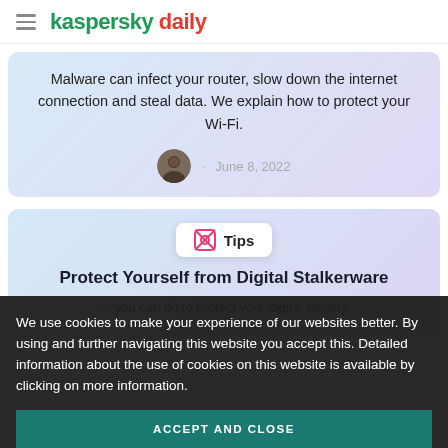kaspersky daily
Malware can infect your router, slow down the internet connection and steal data. We explain how to protect your Wi-Fi.
June 8, 2022
Tips
Protect Yourself from Digital Stalkerware
We use cookies to make your experience of our websites better. By using and further navigating this website you accept this. Detailed information about the use of cookies on this website is available by clicking on more information.
ACCEPT AND CLOSE